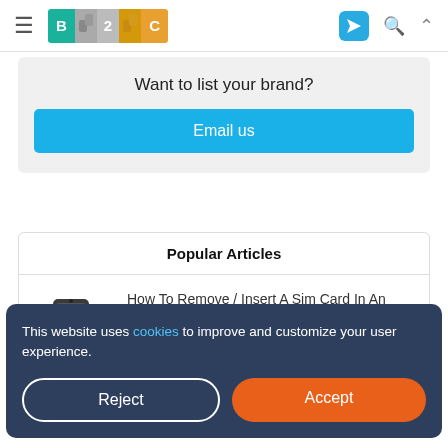B2C navigation bar with logo, hamburger menu, send icon, search icon, and up arrow
Want to list your brand?
Email us
Popular Articles
How To Remove / Insert A Sim Card In An iPhone
This website uses cookies to improve and customize your user experience.
Reject
Accept